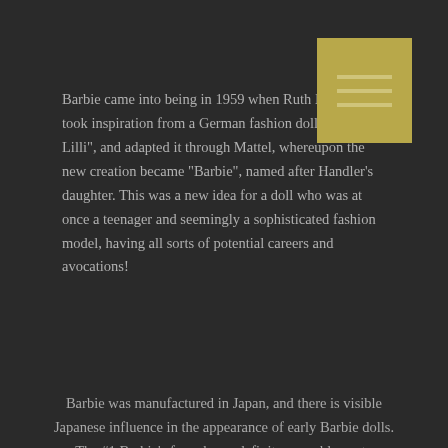Barbie came into being in 1959 when Ruth Handler took inspiration from a German fashion doll, "Bild Lilli", and adapted it through Mattel, whereupon the new creation became "Barbie", named after Handler's daughter. This was a new idea for a doll who was at once a teenager and seemingly a sophisticated fashion model, having all sorts of potential careers and avocations!
Barbie was manufactured in Japan, and there is visible Japanese influence in the appearance of early Barbie dolls. The #1 Barbie's face shows definite resemblance to Kabuki or Geisha, and also refers back to the pouty, "naughty" face of the German Bild Lilli!
[Figure (photo): Close-up photo of a Barbie doll's head with a golden hair accessory, dark background, showing the face partially visible from below]